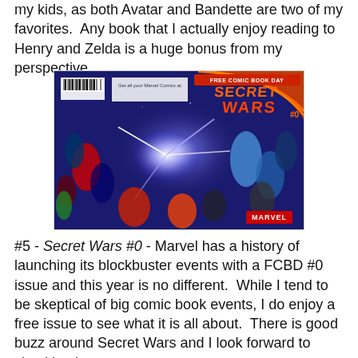my kids, as both Avatar and Bandette are two of my favorites.  Any book that I actually enjoy reading to Henry and Zelda is a huge bonus from my perspective.
[Figure (photo): Cover of Free Comic Book Day: Secret Wars #0 by Marvel Comics, showing many Marvel superheroes in a dramatic battle scene with colorful imagery on a dark background.]
#5 - Secret Wars #0 - Marvel has a history of launching its blockbuster events with a FCBD #0 issue and this year is no different.  While I tend to be skeptical of big comic book events, I do enjoy a free issue to see what it is all about.  There is good buzz around Secret Wars and I look forward to checking it out.